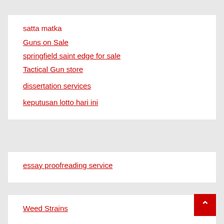satta matka
Guns on Sale
springfield saint edge for sale
Tactical Gun store
dissertation services
keputusan lotto hari ini
essay proofreading service
Weed Strains